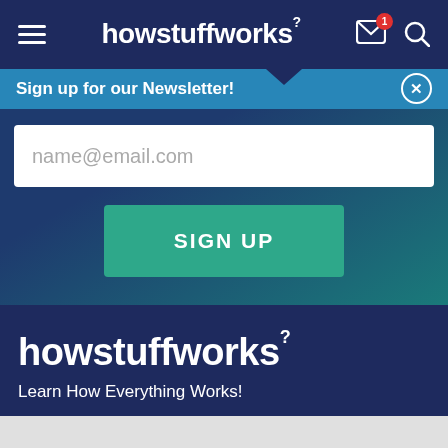howstuffworks
Sign up for our Newsletter!
name@email.com
SIGN UP
[Figure (logo): howstuffworks logo with superscript question mark]
Learn How Everything Works!